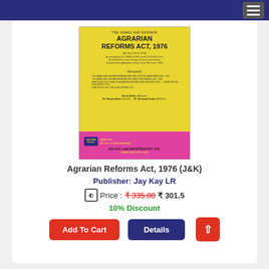[Figure (photo): Book cover of 'The Jammu and Kashmir Agrarian Reforms Act, 1976' published by Jay Kay Law Reporter Pvt. Ltd., yellow cover with pink/magenta publisher strip at bottom]
Agrarian Reforms Act, 1976 (J&K)
Publisher: Jay Kay LR
Price : ₹ 335.00  ₹ 301.5
10% Discount
Add To Cart
Details